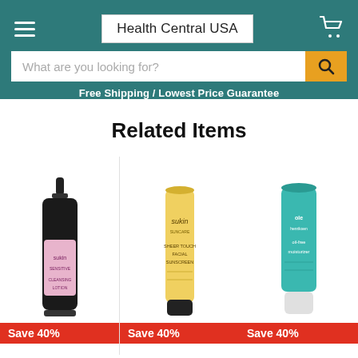Health Central USA
What are you looking for?
Free Shipping / Lowest Price Guarantee
Related Items
[Figure (photo): Sukin Sensitive Cleansing Lotion pump bottle in black with pink label]
Save 40%
[Figure (photo): Sukin Suncare Sheer Touch Facial Sunscreen yellow tube with black cap]
Save 40%
[Figure (photo): OGX or similar brand oil-free moisturizer in teal/mint tube]
Save 40%